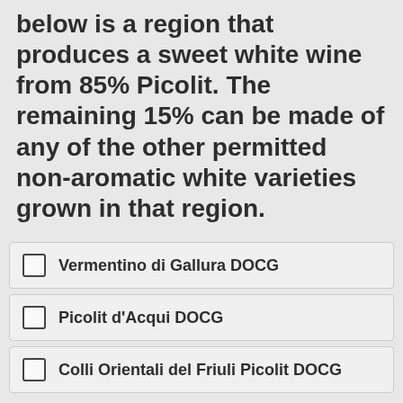below is a region that produces a sweet white wine from 85% Picolit. The remaining 15% can be made of any of the other permitted non-aromatic white varieties grown in that region.
Vermentino di Gallura DOCG
Picolit d'Acqui DOCG
Colli Orientali del Friuli Picolit DOCG